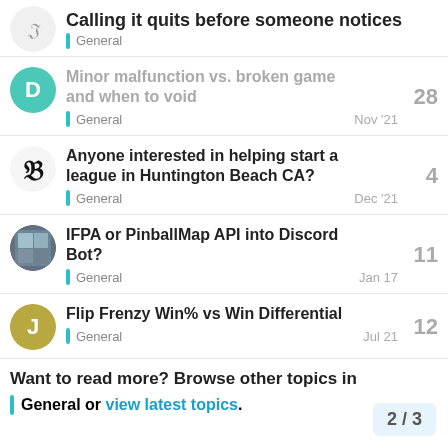Calling it quits before someone notices
General
Minor malfunction vs. broken game and when to void
General Nov '21
28 replies
Anyone interested in helping start a league in Huntington Beach CA?
General Dec '21
4 replies
IFPA or PinballMap API into Discord Bot?
General Jan 17
11 replies
Flip Frenzy Win% vs Win Differential
General Jul 21
12 replies
Want to read more? Browse other topics in General or view latest topics.
2 / 3